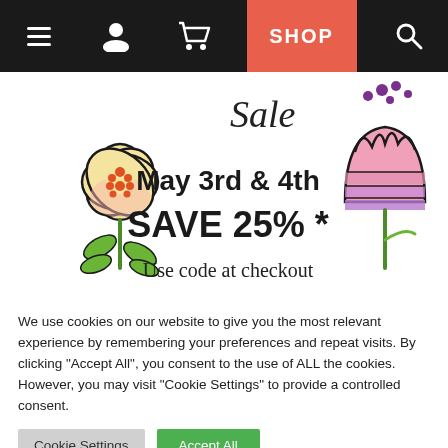Navigation bar with menu, account, cart, SHOP, and search icons
[Figure (illustration): Sale banner showing May 3rd & 4th SAVE 25% * Use code at checkout, with illustrated flowers on left and right]
We use cookies on our website to give you the most relevant experience by remembering your preferences and repeat visits. By clicking "Accept All", you consent to the use of ALL the cookies. However, you may visit "Cookie Settings" to provide a controlled consent.
Cookie Settings | Accept All